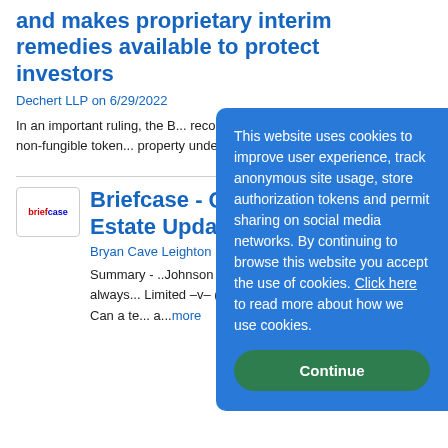and makes proprietary interim remedies available to protect investors
Dechert LLP on 6/29/2022
In an important ruling, the B... recognised for the first time... case that non-fungible token... property under English law.... powerful...more
[Figure (logo): Small publication logo with red and blue text]
Briefcase - Quar... Estate Update –
Bryan Cave Leighton Paisne...
Summary - ..Johnson –v- Sp... to contract" label not always... Limited –v- (1) Narendra Ga... Holdings Limited – Can a te... a...more
This website uses cookies to improve user experience, track anonymous site usage, store authorization tokens and permit sharing on social media networks. By continuing to browse this website you accept the use of cookies. Click here to read more about how we use cookies.